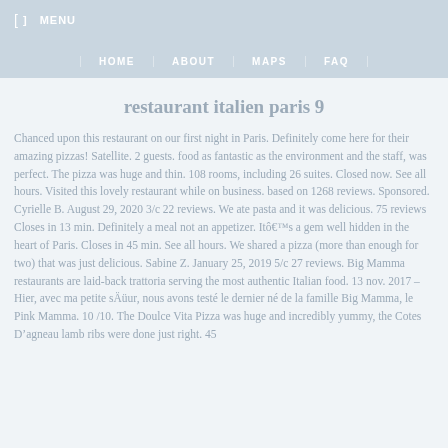MENU | HOME | ABOUT | MAPS | FAQ
restaurant italien paris 9
Chanced upon this restaurant on our first night in Paris. Definitely come here for their amazing pizzas! Satellite. 2 guests. food as fantastic as the environment and the staff, was perfect. The pizza was huge and thin. 108 rooms, including 26 suites. Closed now. See all hours. Visited this lovely restaurant while on business. based on 1268 reviews. Sponsored. Cyrielle B. August 29, 2020 3/c 22 reviews. We ate pasta and it was delicious. 75 reviews Closes in 13 min. Definitely a meal not an appetizer. Itô€™s a gem well hidden in the heart of Paris. Closes in 45 min. See all hours. We shared a pizza (more than enough for two) that was just delicious. Sabine Z. January 25, 2019 5/c 27 reviews. Big Mamma restaurants are laid-back trattoria serving the most authentic Italian food. 13 nov. 2017 – Hier, avec ma petite sÄüur, nous avons testé le dernier né de la famille Big Mamma, le Pink Mamma. 10 /10. The Doulce Vita Pizza was huge and incredibly yummy, the Cotes D’agneau lamb ribs were done just right. 45